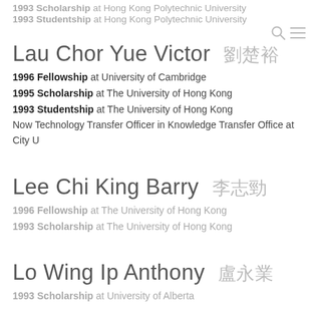1993 Scholarship at Hong Kong Polytechnic University
1993 Studentship at Hong Kong Polytechnic University
Lau Chor Yue Victor 劉楚裕
1996 Fellowship at University of Cambridge
1995 Scholarship at The University of Hong Kong
1993 Studentship at The University of Hong Kong
Now Technology Transfer Officer in Knowledge Transfer Office at City U
Lee Chi King Barry 李志勁
1996 Fellowship at The University of Hong Kong
1993 Scholarship at The University of Hong Kong
Lo Wing Ip Anthony 盧永業
1993 Scholarship at University of Alberta